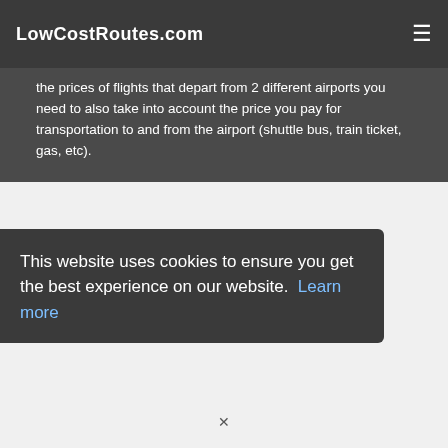LowCostRoutes.com
the prices of flights that depart from 2 different airports you need to also take into account the price you pay for transportation to and from the airport (shuttle bus, train ticket, gas, etc).
This website uses cookies to ensure you get the best experience on our website. Learn more